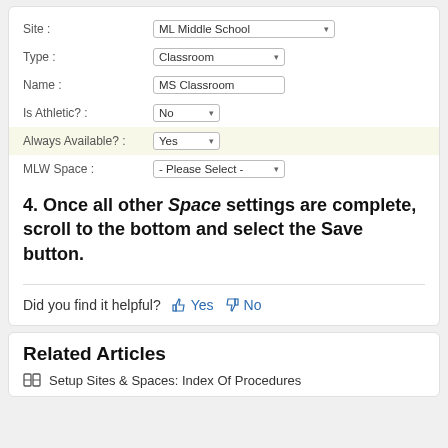[Figure (screenshot): Form fields showing Site: ML Middle School, Type: Classroom, Name: MS Classroom, Is Athletic?: No, Always Available?: Yes (highlighted in yellow), MLW Space: - Please Select -]
4. Once all other Space settings are complete, scroll to the bottom and select the Save button.
Did you find it helpful? Yes No
Related Articles
Setup Sites & Spaces: Index Of Procedures